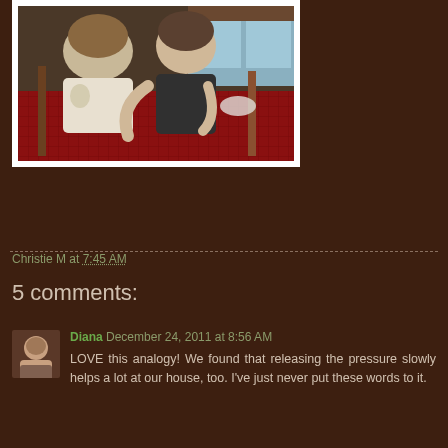[Figure (photo): Two girls sitting at a table, one leaning toward the other whispering or showing something. Indoor setting with a red patterned tablecloth.]
Christie M at 7:45 AM
5 comments:
Diana December 24, 2011 at 8:56 AM
LOVE this analogy! We found that releasing the pressure slowly helps a lot at our house, too. I've just never put these words to it.